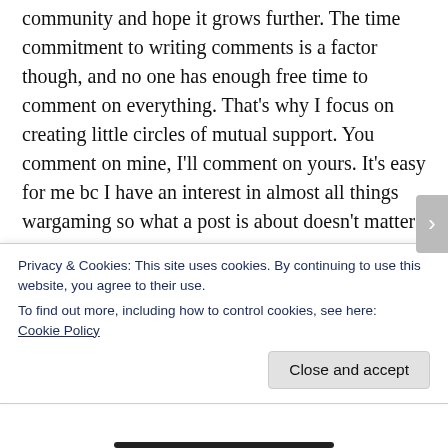community and hope it grows further. The time commitment to writing comments is a factor though, and no one has enough free time to comment on everything. That's why I focus on creating little circles of mutual support. You comment on mine, I'll comment on yours. It's easy for me bc I have an interest in almost all things wargaming so what a post is about doesn't matter too much. I'm more concerned with positivity and attitude.
When I come across a new blog I'll usually leave a few comments and see what happens. If they
Privacy & Cookies: This site uses cookies. By continuing to use this website, you agree to their use.
To find out more, including how to control cookies, see here:
Cookie Policy
Close and accept